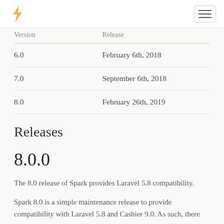Navigation bar with Spark logo and hamburger menu
| Version | Release |
| --- | --- |
| 6.0 | February 6th, 2018 |
| 7.0 | September 6th, 2018 |
| 8.0 | February 26th, 2019 |
Releases
8.0.0
The 8.0 release of Spark provides Laravel 5.8 compatibility.
Spark 8.0 is a simple maintenance release to provide compatibility with Laravel 5.8 and Cashier 9.0. As such, there